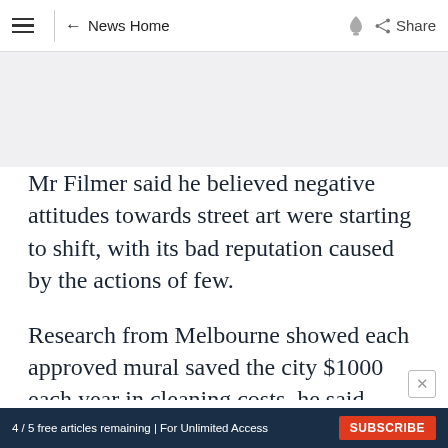≡  ← News Home  🔔  Share
[Figure (other): Gray advertisement banner placeholder area]
Mr Filmer said he believed negative attitudes towards street art were starting to shift, with its bad reputation caused by the actions of few.
Research from Melbourne showed each approved mural saved the city $1000 each year in cleaning costs, he said.
Ad
4 / 5 free articles remaining | For Unlimited Access  SUBSCRIBE